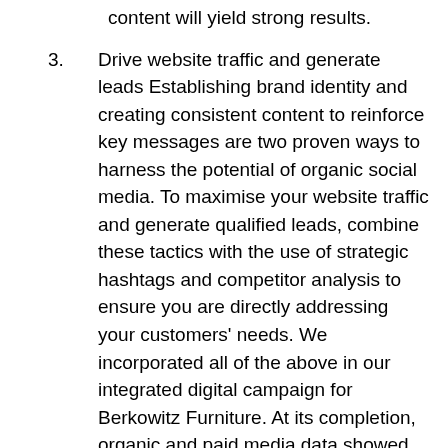content will yield strong results.
3. Drive website traffic and generate leads Establishing brand identity and creating consistent content to reinforce key messages are two proven ways to harness the potential of organic social media. To maximise your website traffic and generate qualified leads, combine these tactics with the use of strategic hashtags and competitor analysis to ensure you are directly addressing your customers' needs. We incorporated all of the above in our integrated digital campaign for Berkowitz Furniture. At its completion, organic and paid media data showed rates of engagement six times the industry average.